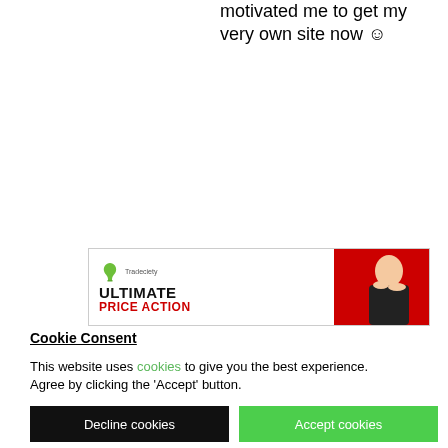motivated me to get my very own site now ☺
[Figure (photo): Advertisement banner for 'Ultimate Price Action' course with a logo on the left and a person on a red background on the right]
Cookie Consent
This website uses cookies to give you the best experience. Agree by clicking the 'Accept' button.
Decline cookies | Accept cookies